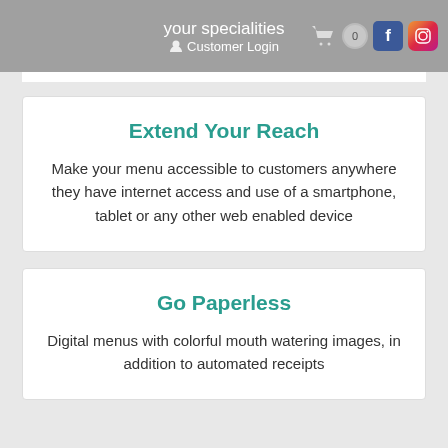your specialities
Customer Login
Extend Your Reach
Make your menu accessible to customers anywhere they have internet access and use of a smartphone, tablet or any other web enabled device
Go Paperless
Digital menus with colorful mouth watering images, in addition to automated receipts